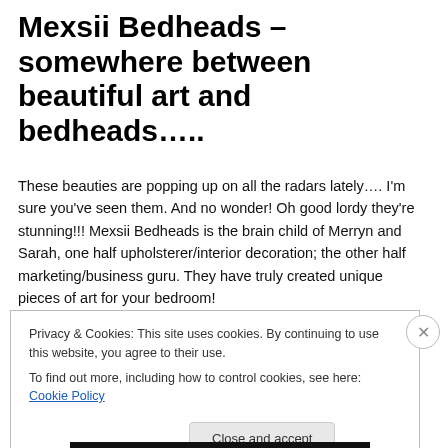Mexsii Bedheads – somewhere between beautiful art and bedheads…..
These beauties are popping up on all the radars lately…. I'm sure you've seen them. And no wonder! Oh good lordy they're stunning!!! Mexsii Bedheads is the brain child of Merryn and Sarah, one half upholsterer/interior decoration; the other half marketing/business guru. They have truly created unique pieces of art for your bedroom!
Privacy & Cookies: This site uses cookies. By continuing to use this website, you agree to their use.
To find out more, including how to control cookies, see here: Cookie Policy
Close and accept